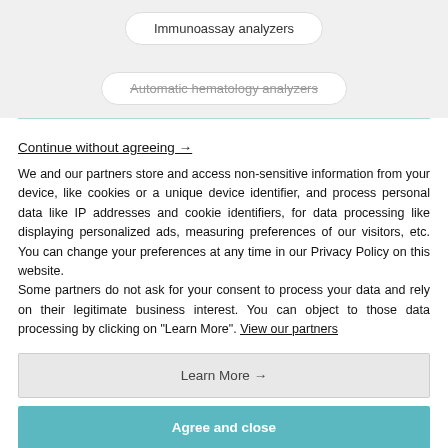[Figure (screenshot): Two pill-shaped buttons partially visible at the top: 'Immunoassay analyzers' and 'Automatic hematology analyzers' (struck through), on a light gray background]
Continue without agreeing →
We and our partners store and access non-sensitive information from your device, like cookies or a unique device identifier, and process personal data like IP addresses and cookie identifiers, for data processing like displaying personalized ads, measuring preferences of our visitors, etc. You can change your preferences at any time in our Privacy Policy on this website.
Some partners do not ask for your consent to process your data and rely on their legitimate business interest. You can object to those data processing by clicking on "Learn More". View our partners
Learn More →
Agree and close